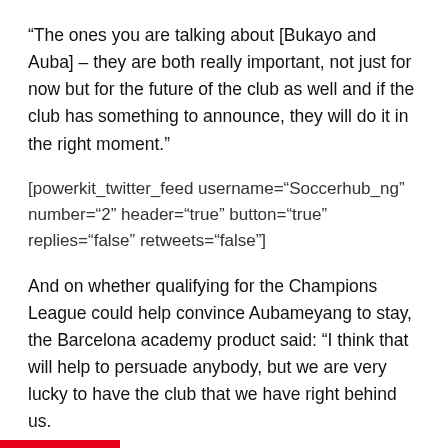“The ones you are talking about [Bukayo and Auba] – they are both really important, not just for now but for the future of the club as well and if the club has something to announce, they will do it in the right moment.”
[powerkit_twitter_feed username=“Soccerhub_ng” number=“2” header=“true” button=“true” replies=“false” retweets=“false”]
And on whether qualifying for the Champions League could help convince Aubameyang to stay, the Barcelona academy product said: “I think that will help to persuade anybody, but we are very lucky to have the club that we have right behind us.